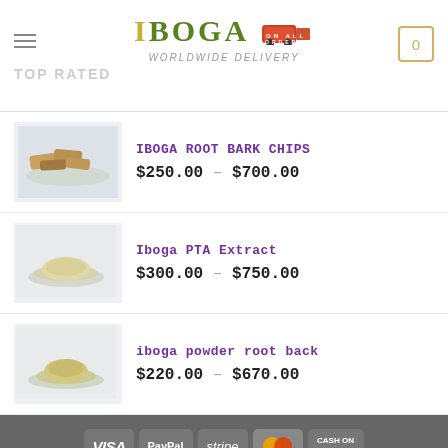IBOGA WORLDWIDE DELIVERY
TOP RATED
IBOGA ROOT BARK CHIPS — $250.00 – $700.00
Iboga PTA Extract — $300.00 – $750.00
iboga powder root back — $220.00 – $670.00
VISA | PayPal | stripe | MasterCard | CASH ON DELIVERY | BLOG